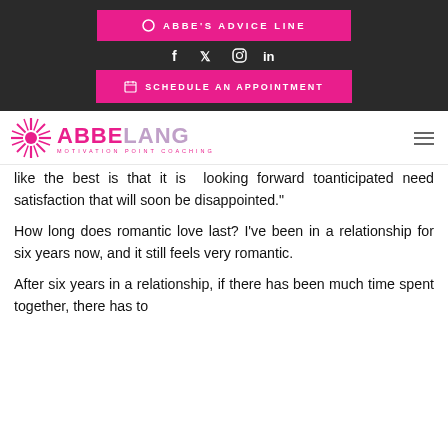ABBE'S ADVICE LINE
[Figure (other): Social media icons: Facebook, Twitter, Instagram, LinkedIn]
SCHEDULE AN APPOINTMENT
[Figure (logo): Abbe Lang Motivation Point Coaching logo with starburst graphic]
like the best is that it is looking forward toanticipated need satisfaction that will soon be disappointed."
How long does romantic love last? I've been in a relationship for six years now, and it still feels very romantic.
After six years in a relationship, if there has been much time spent together, there has to